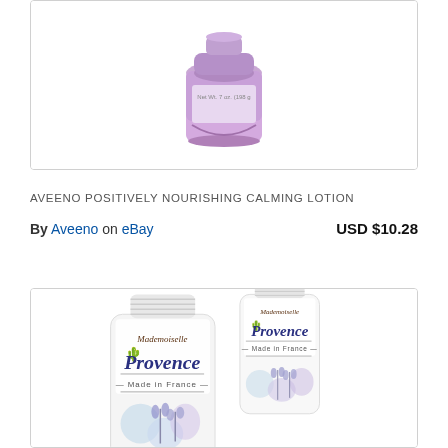[Figure (photo): Purple Aveeno Positively Nourishing Calming Lotion bottle, partially cropped at top]
AVEENO POSITIVELY NOURISHING CALMING LOTION
By Aveeno on eBay   USD $10.28
[Figure (photo): Two Mademoiselle Provence Made in France cosmetic tubes with floral lavender decoration]